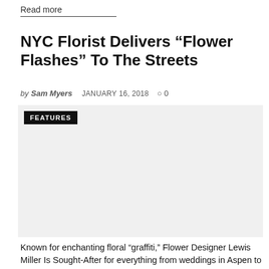Read more
NYC Florist Delivers “Flower Flashes” To The Streets
by Sam Myers   JANUARY 16, 2018   ○ 0
[Figure (photo): Photo placeholder with FEATURES badge label in the top-left corner, light gray background.]
Known for enchanting floral “graffiti,” Flower Designer Lewis Miller Is Sought-After for everything from weddings in Aspen to Parties in Venice.
Read more